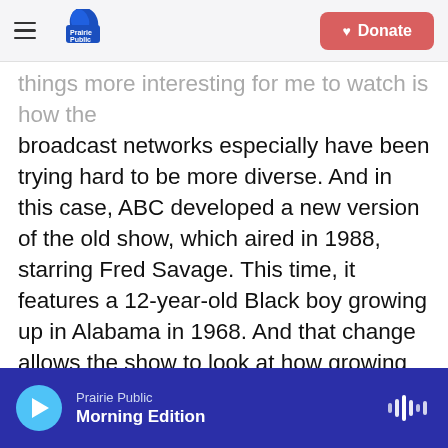Prairie Public | Donate
things more interesting for me to watch is how the broadcast networks especially have been trying hard to be more diverse. And in this case, ABC developed a new version of the old show, which aired in 1988, starring Fred Savage. This time, it features a 12-year-old Black boy growing up in Alabama in 1968. And that change allows the show to look at how growing up Black at that time had some universal experiences that maybe everybody can relate to but was also very specific. So we got this clip of the kid talking to his parents about why his Little League coach says he needs a new baseball glove.
Prairie Public — Morning Edition